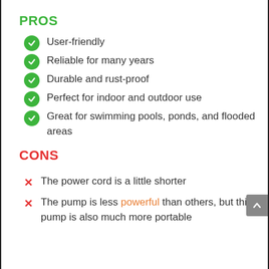PROS
User-friendly
Reliable for many years
Durable and rust-proof
Perfect for indoor and outdoor use
Great for swimming pools, ponds, and flooded areas
CONS
The power cord is a little shorter
The pump is less powerful than others, but this pump is also much more portable